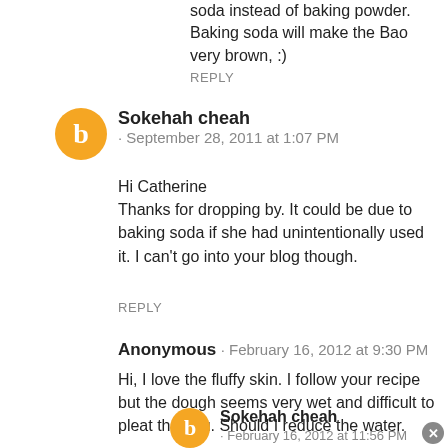soda instead of baking powder. Baking soda will make the Bao very brown, :)
REPLY
Sokehah cheah · September 28, 2011 at 1:07 PM
Hi Catherine
Thanks for dropping by. It could be due to baking soda if she had unintentionally used it. I can't go into your blog though.
REPLY
Anonymous · February 16, 2012 at 9:30 PM
Hi, I love the fluffy skin. I follow your recipe but the dough seems very wet and difficult to pleat the pau. Should I reduce the water.
Sokehah cheah · February 16, 2012 at 11:56 PM